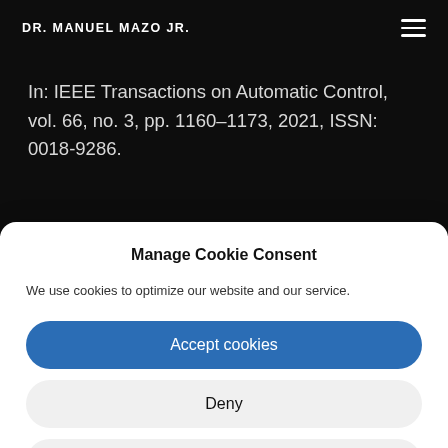DR. MANUEL MAZO JR.
In: IEEE Transactions on Automatic Control, vol. 66, no. 3, pp. 1160–1173, 2021, ISSN: 0018-9286.
Manage Cookie Consent
We use cookies to optimize our website and our service.
Accept cookies
Deny
View preferences